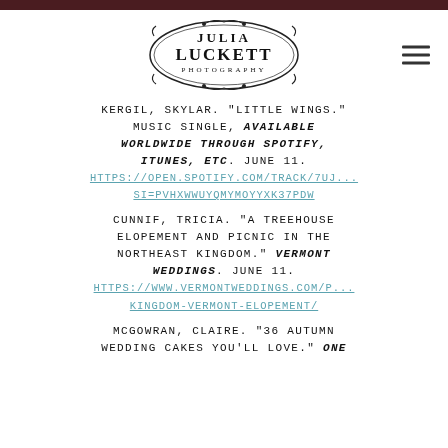Julia Luckett Photography
KERGIL, SKYLAR. "LITTLE WINGS." MUSIC SINGLE, AVAILABLE WORLDWIDE THROUGH SPOTIFY, ITUNES, ETC. JUNE 11. HTTPS://OPEN.SPOTIFY.COM/TRACK/7UJ...SI=PVHXWWUYQMYMOYYXK37PDW
CUNNIF, TRICIA. "A TREEHOUSE ELOPEMENT AND PICNIC IN THE NORTHEAST KINGDOM." VERMONT WEDDINGS. JUNE 11. HTTPS://WWW.VERMONTWEDDINGS.COM/P...KINGDOM-VERMONT-ELOPEMENT/
MCGOWRAN, CLAIRE. "36 AUTUMN WEDDING CAKES YOU'LL LOVE." ONE